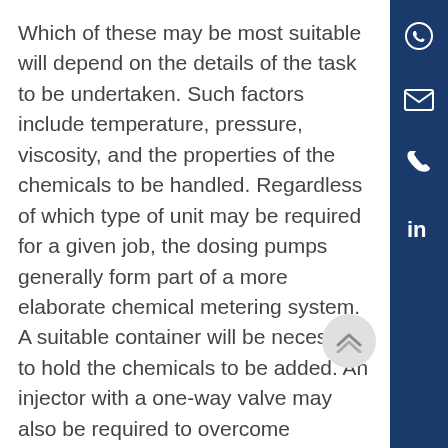Which of these may be most suitable will depend on the details of the task to be undertaken. Such factors include temperature, pressure, viscosity, and the properties of the chemicals to be handled. Regardless of which type of unit may be required for a given job, the dosing pumps generally form part of a more elaborate chemical metering system. A suitable container will be necessary to hold the chemicals to be added. An injector with a one-way valve may also be required to overcome possible back-pressure when injecting the dose into a pipeline. To control the operation, a manual switch or a timing mechanism might su
[Figure (other): Dark blue vertical sidebar with social media icons: WhatsApp, email (envelope), phone, and LinkedIn]
[Figure (other): Light grey circular scroll-up button with double chevron arrow pointing up]
Manage consent